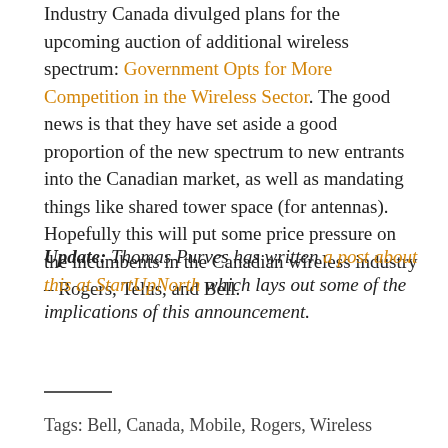Industry Canada divulged plans for the upcoming auction of additional wireless spectrum: Government Opts for More Competition in the Wireless Sector. The good news is that they have set aside a good proportion of the new spectrum to new entrants into the Canadian market, as well as mandating things like shared tower space (for antennas). Hopefully this will put some price pressure on the incumbents in the Canadian wireless industry – Rogers, Telus, and Bell.
Update: Thomas Purves has written a post about this at StartUpNorth which lays out some of the implications of this announcement.
Tags: Bell, Canada, Mobile, Rogers, Wireless